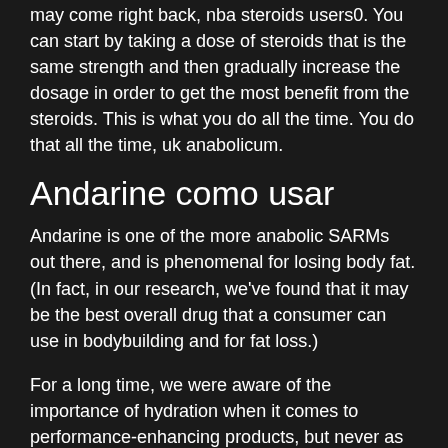may come right back, nba steroids users0. You can start by taking a dose of steroids that is the same strength and then gradually increase the dosage in order to get the most benefit from the steroids. This is what you do all the time. You do that all the time, uk anabolicum.
Andarine como usar
Andarine is one of the more anabolic SARMs out there, and is phenomenal for losing body fat. (In fact, in our research, we've found that it may be the best overall drug that a consumer can use in bodybuilding and for fat loss.)
For a long time, we were aware of the importance of hydration when it comes to performance-enhancing products, but never as much as we are on today. (And, of course, hydration is part of our drug testing regimen, anavar price per pill.)